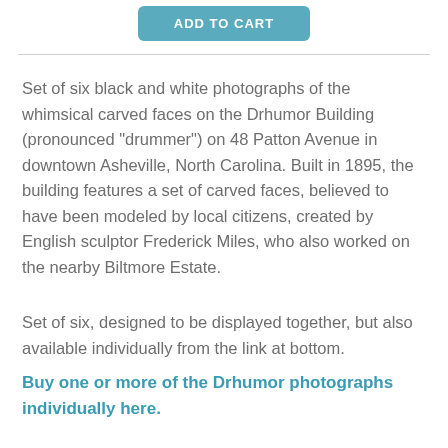[Figure (other): ADD TO CART button in teal/blue color]
Set of six black and white photographs of the whimsical carved faces on the Drhumor Building (pronounced "drummer") on 48 Patton Avenue in downtown Asheville, North Carolina. Built in 1895, the building features a set of carved faces, believed to have been modeled by local citizens, created by English sculptor Frederick Miles, who also worked on the nearby Biltmore Estate.
Set of six, designed to be displayed together, but also available individually from the link at bottom.
Buy one or more of the Drhumor photographs individually here.